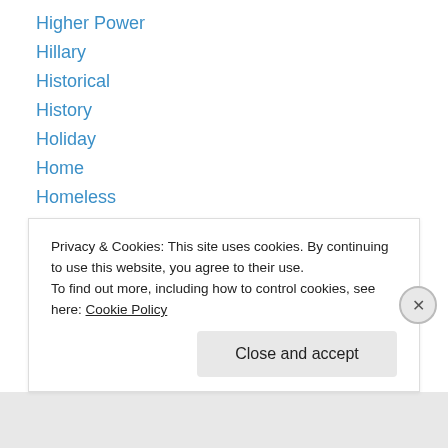Higher Power
Hillary
Historical
History
Holiday
Home
Homeless
Homosexuality
Honest
Honor
Humor
Humorous
Immigration
Privacy & Cookies: This site uses cookies. By continuing to use this website, you agree to their use. To find out more, including how to control cookies, see here: Cookie Policy
Close and accept